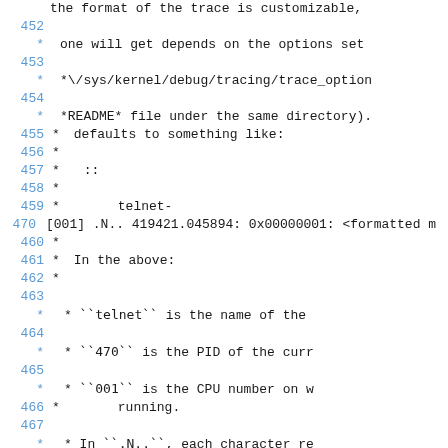the format of the trace is customizable,
452  * one will get depends on the options set
453  * *\/sys/kernel/debug/tracing/trace_option
454  * *README* file under the same directory). defaults to something like:
455 * defaults to something like:
456 *
457 * ::
458 *
459 * telnet-
470    [001] .N.. 419421.045894: 0x00000001: <formatted m
460 *
461 * In the above:
462 *
463
* ``telnet`` is the name of the
464
* ``470`` is the PID of the curr
465
* ``001`` is the CPU number on w
466 * running.
467
* In ``.N..``, each character re